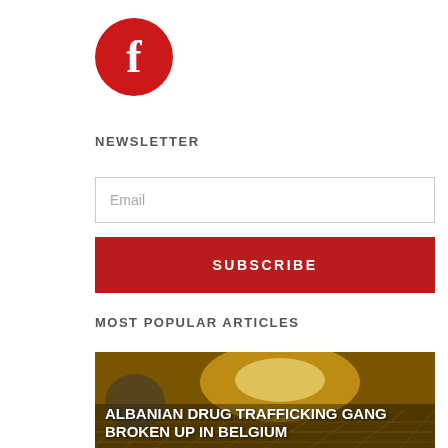[Figure (logo): Facebook logo: red circle with white lowercase 'f']
NEWSLETTER
Email
SUBSCRIBE
MOST POPULAR ARTICLES
[Figure (photo): Article thumbnail showing golden/yellow lit warehouse or tunnel interior with article title overlay: ALBANIAN DRUG TRAFFICKING GANG BROKEN UP IN BELGIUM]